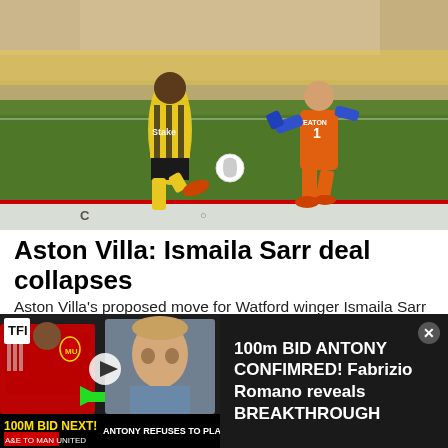[Figure (photo): Football action photo showing a Watford player in yellow and black striped kit shooting past a goalkeeper in an orange kit with number 1, at a stadium with crowd in background]
Aston Villa: Ismaila Sarr deal collapses
Aston Villa's proposed move for Watford winger Ismaila Sarr is now off, according to Sky Sports News.
Football Transfer Tavern
[Figure (screenshot): Video ad thumbnail showing footballer Antony in Manchester United red kit on left, presenter/pundit on right, with green arrow graphic, yellow text '100M BID NEXT!' and bottom bar 'ANTONY REFUSES TO PLAY'. Adjacent text reads: 100m BID ANTONY CONFIMRED! Fabrizio Romano reveals BREAKTHROUGH]